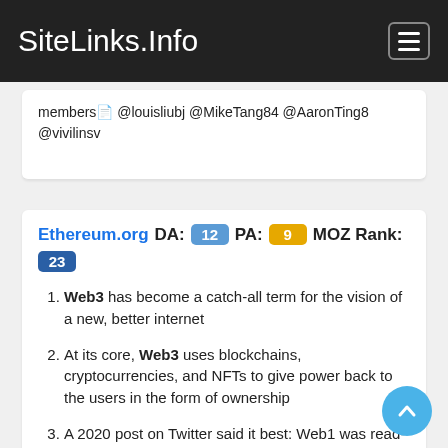SiteLinks.Info
members @louisliubj @MikeTang84 @AaronTing8 @vivilinsv
Ethereum.org  DA: 12  PA: 9  MOZ Rank: 23
Web3 has become a catch-all term for the vision of a new, better internet
At its core, Web3 uses blockchains, cryptocurrencies, and NFTs to give power back to the users in the form of ownership
A 2020 post on Twitter said it best: Web1 was read-only, Web2 is read-write, Web3 will be read-write-own.